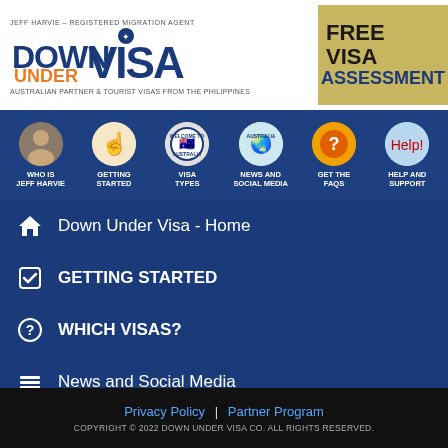[Figure (logo): Down Under Visa logo with tagline 'Jeff Harvie - Registered Migration Agent' and 'Australian Partner & Tourist Visas from the Philippines']
[Figure (infographic): Free Visa Assessment gold/yellow box with bold black and blue text]
[Figure (infographic): Navigation icon strip with 6 circular icons: Who is Jeff Harvie, Getting Started, Visa Types, News and Social Media, Get the FAQs, Help and Support]
Down Under Visa - Home
GETTING STARTED
WHICH VISAS?
News and Social Media
Happy Couples (Testimonials)
Jeff's Favorite Links
Privacy Policy | Partner Program
COPYRIGHT © 2022 DOWN UNDER VISA CO. ALL RIGHTS RESERVED.